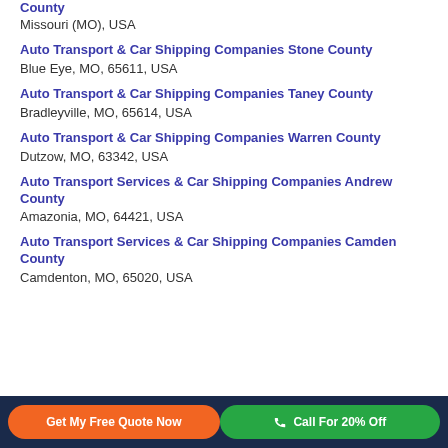County
Missouri (MO), USA
Auto Transport & Car Shipping Companies Stone County
Blue Eye, MO, 65611, USA
Auto Transport & Car Shipping Companies Taney County
Bradleyville, MO, 65614, USA
Auto Transport & Car Shipping Companies Warren County
Dutzow, MO, 63342, USA
Auto Transport Services & Car Shipping Companies Andrew County
Amazonia, MO, 64421, USA
Auto Transport Services & Car Shipping Companies Camden County
Camdenton, MO, 65020, USA
Get My Free Quote Now   Call For 20% Off